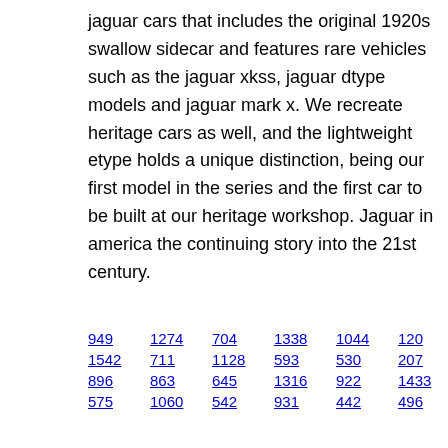jaguar cars that includes the original 1920s swallow sidecar and features rare vehicles such as the jaguar xkss, jaguar dtype models and jaguar mark x. We recreate heritage cars as well, and the lightweight etype holds a unique distinction, being our first model in the series and the first car to be built at our heritage workshop. Jaguar in america the continuing story into the 21st century.
949  1274  704  1338  1044  120
1542  711  1128  593  530  207
896  863  645  1316  922  1433
575  1060  542  931  442  496